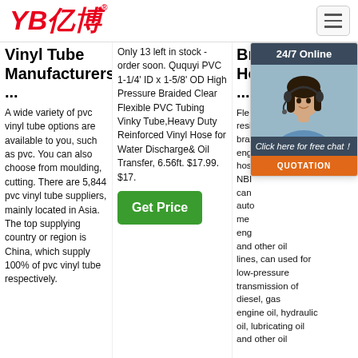[Figure (logo): YB亿博 logo in red italic text with registered trademark symbol]
Vinyl Tube Manufacturers ...
A wide variety of pvc vinyl tube options are available to you, such as pvc. You can also choose from moulding, cutting. There are 5,844 pvc vinyl tube suppliers, mainly located in Asia. The top supplying country or region is China, which supply 100% of pvc vinyl tube respectively.
Only 13 left in stock - order soon. Ququyi PVC 1-1/4' ID x 1-5/8' OD High Pressure Braided Clear Flexible PVC Tubing Vinky Tube,Heavy Duty Reinforced Vinyl Hose for Water Discharge& Oil Transfer, 6.56ft. $17.99. $17.
Get Price
Braided Hose ...
[Figure (photo): Customer service lady with headset, 24/7 Online chat widget with QUOTATION button]
Flexible, resistant, braided engineering hose NBR, can used for automotive, medical, engineering and other oil lines, can used for low-pressure transmission of diesel, gasoline, engine oil, hydraulic oil, lubricating oil and other oil